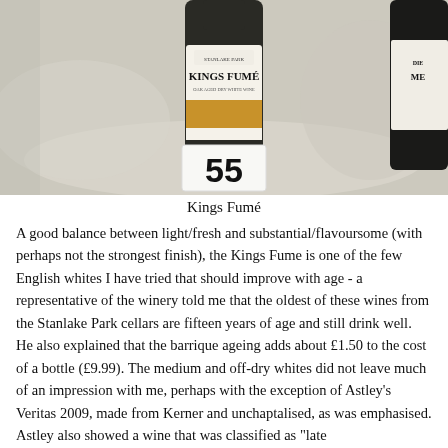[Figure (photo): Photograph of a wine bottle labeled 'Kings Fumé' by Stanlake Park, with a number card '55' in front of it on a white cloth surface. Another dark bottle is partially visible on the right.]
Kings Fumé
A good balance between light/fresh and substantial/flavoursome (with perhaps not the strongest finish), the Kings Fume is one of the few English whites I have tried that should improve with age - a representative of the winery told me that the oldest of these wines from the Stanlake Park cellars are fifteen years of age and still drink well. He also explained that the barrique ageing adds about £1.50 to the cost of a bottle (£9.99). The medium and off-dry whites did not leave much of an impression with me, perhaps with the exception of Astley's Veritas 2009, made from Kerner and unchaptalised, as was emphasised. Astley also showed a wine that was classified as "late